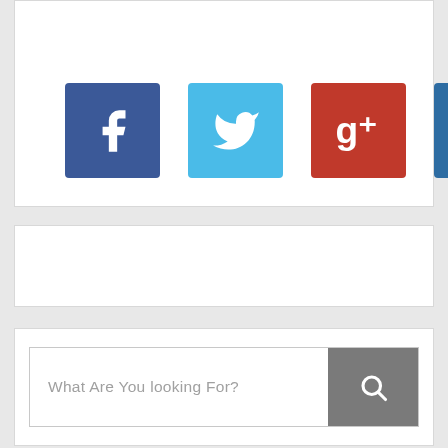[Figure (screenshot): Social media icon buttons: Facebook (blue), Twitter (light blue), Google+ (red-brown), LinkedIn (blue), Pinterest (red)]
[Figure (screenshot): Empty white card panel]
[Figure (screenshot): Search bar with placeholder text 'What Are You looking For?' and a gray search button with magnifying glass icon]
[Figure (screenshot): Empty white card panel at bottom]